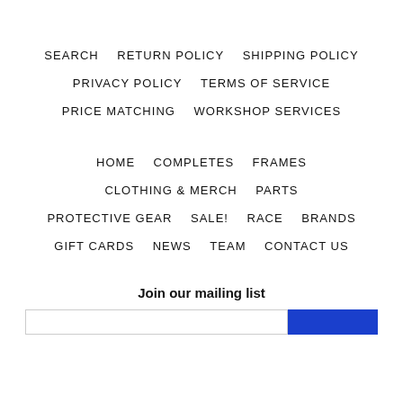SEARCH   RETURN POLICY   SHIPPING POLICY
PRIVACY POLICY   TERMS OF SERVICE
PRICE MATCHING   WORKSHOP SERVICES
HOME   COMPLETES   FRAMES
CLOTHING & MERCH   PARTS
PROTECTIVE GEAR   SALE!   RACE   BRANDS
GIFT CARDS   NEWS   TEAM   CONTACT US
Join our mailing list